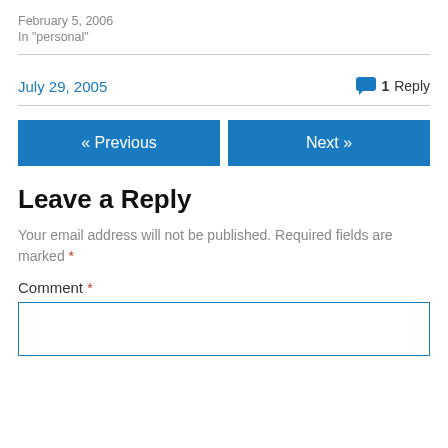February 5, 2006
In "personal"
July 29, 2005
1 Reply
« Previous
Next »
Leave a Reply
Your email address will not be published. Required fields are marked *
Comment *